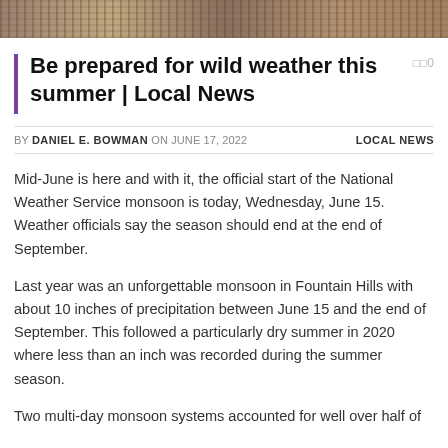[Figure (photo): Photo strip at the top of the page showing outdoor/nature scene]
Be prepared for wild weather this summer | Local News
BY DANIEL E. BOWMAN ON JUNE 17, 2022   LOCAL NEWS
Mid-June is here and with it, the official start of the National Weather Service monsoon is today, Wednesday, June 15. Weather officials say the season should end at the end of September.
Last year was an unforgettable monsoon in Fountain Hills with about 10 inches of precipitation between June 15 and the end of September. This followed a particularly dry summer in 2020 where less than an inch was recorded during the summer season.
Two multi-day monsoon systems accounted for well over half of